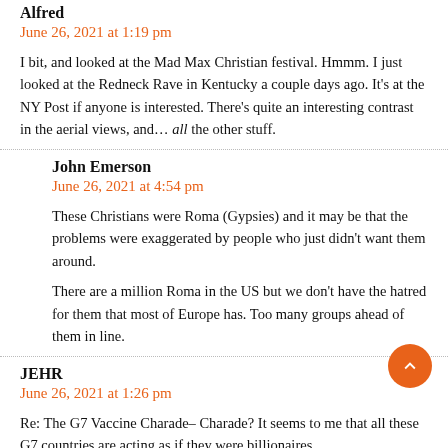Alfred
June 26, 2021 at 1:19 pm
I bit, and looked at the Mad Max Christian festival. Hmmm. I just looked at the Redneck Rave in Kentucky a couple days ago. It's at the NY Post if anyone is interested. There's quite an interesting contrast in the aerial views, and… all the other stuff.
John Emerson
June 26, 2021 at 4:54 pm
These Christians were Roma (Gypsies) and it may be that the problems were exaggerated by people who just didn't want them around.
There are a million Roma in the US but we don't have the hatred for them that most of Europe has. Too many groups ahead of them in line.
JEHR
June 26, 2021 at 1:26 pm
Re: The G7 Vaccine Charade– Charade? It seems to me that all these G7 countries are acting as if they were billionaires…